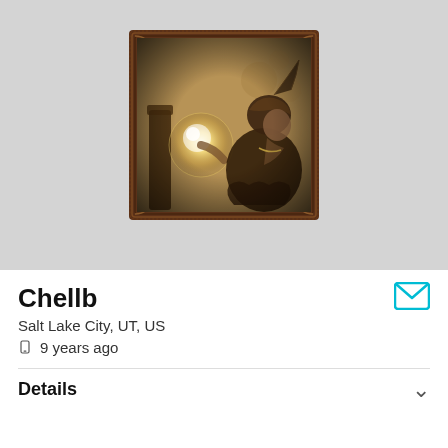[Figure (photo): Profile picture showing a vintage sepia-toned illustration of a woman in fortune teller attire looking at a glowing crystal ball, set in an ornate dark wood frame, displayed on a light gray background.]
Chellb
Salt Lake City, UT, US
9 years ago
Details